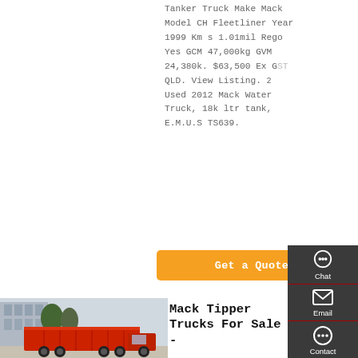Tanker Truck Make Mack Model CH Fleetliner Year 1999 Km s 1.01mil Rego Yes GCM 47,000kg GVM 24,380k. $63,500 Ex GST QLD. View Listing. 2 Used 2012 Mack Water Truck, 18k ltr tank, E.M.U.S TS639.
Get a Quote
[Figure (photo): Red Mack tipper truck with large cargo body, parked near a building]
Mack Tipper Trucks For Sale -